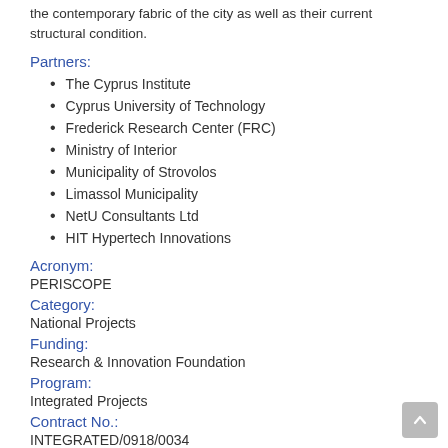the contemporary fabric of the city as well as their current structural condition.
Partners:
The Cyprus Institute
Cyprus University of Technology
Frederick Research Center (FRC)
Ministry of Interior
Municipality of Strovolos
Limassol Municipality
NetU Consultants Ltd
HIT Hypertech Innovations
Acronym:
PERISCOPE
Category:
National Projects
Funding:
Research & Innovation Foundation
Program:
Integrated Projects
Contract No.:
INTEGRATED/0918/0034